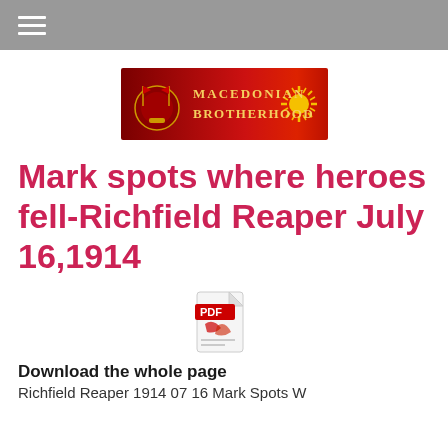≡
[Figure (logo): Macedonian Brotherhood logo — dark red banner with gold text reading MACEDONIAN BROTHERHOOD, a crest with flags and a sunburst on the right]
Mark spots where heroes fell-Richfield Reaper July 16,1914
[Figure (illustration): PDF file icon — red and white Adobe PDF icon]
Download the whole page
Richfield Reaper 1914 07 16 Mark Spots W